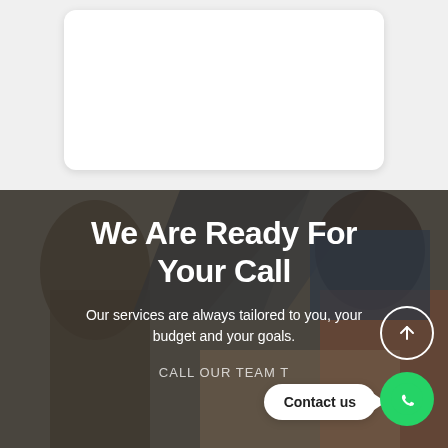[Figure (other): White rounded card on light gray background, top portion of page]
[Figure (photo): Background photo of two people in an office/meeting setting, overlaid with dark semi-transparent overlay. Contains text overlays.]
We Are Ready For Your Call
Our services are always tailored to you, your budget and your goals.
CALL OUR TEAM T
Contact us